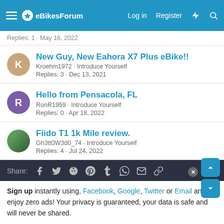eBikesForum — Log in | Register
Replies: 1 · May 16, 2022
New Guy, New Eahora X7 Plus eBike!!
Kroehm1972 · Introduce Yourself
Replies: 3 · Dec 13, 2021
Hello from Pensacola, FL
RonR1959 · Introduce Yourself
Replies: 0 · Apr 18, 2022
Fiido T1 1k Mile review.
Gh3tt0W3d0_74 · Introduce Yourself
Replies: 4 · Jul 24, 2022
Share: [Facebook] [Twitter] [Reddit] [Pinterest] [Tumblr] [WhatsApp] [Email] [Link]
Sign up instantly using, Facebook, Google, Twitter or Email and enjoy zero ads! Your privacy is guaranteed, your data is safe and will never be shared.